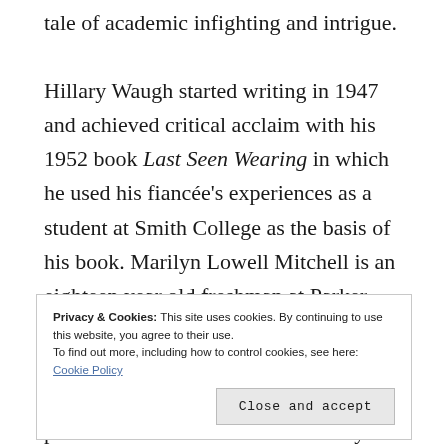tale of academic infighting and intrigue.

Hillary Waugh started writing in 1947 and achieved critical acclaim with his 1952 book Last Seen Wearing in which he used his fiancée's experiences as a student at Smith College as the basis of his book. Marilyn Lowell Mitchell is an eighteen year old freshman at Parker College who goes missing on Friday 3rd March, 1950 after attending a history class. What follows is a classic police procedural where evidence is slowly and
Privacy & Cookies: This site uses cookies. By continuing to use this website, you agree to their use.
To find out more, including how to control cookies, see here: Cookie Policy